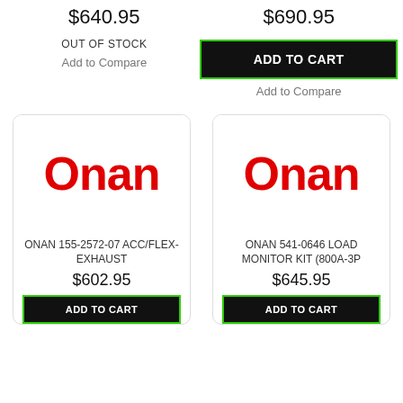$640.95
$690.95
OUT OF STOCK
Add to Compare
ADD TO CART
Add to Compare
[Figure (logo): Onan brand logo in red bold text]
ONAN 155-2572-07 ACC/FLEX-EXHAUST
$602.95
[Figure (logo): Onan brand logo in red bold text]
ONAN 541-0646 LOAD MONITOR KIT (800A-3P
$645.95